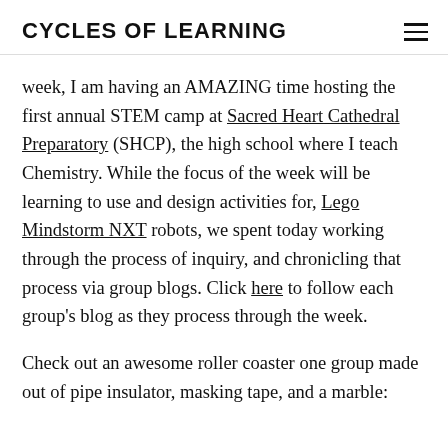CYCLES OF LEARNING
week, I am having an AMAZING time hosting the first annual STEM camp at Sacred Heart Cathedral Preparatory (SHCP), the high school where I teach Chemistry. While the focus of the week will be learning to use and design activities for, Lego Mindstorm NXT robots, we spent today working through the process of inquiry, and chronicling that process via group blogs. Click here to follow each group's blog as they process through the week.
Check out an awesome roller coaster one group made out of pipe insulator, masking tape, and a marble: